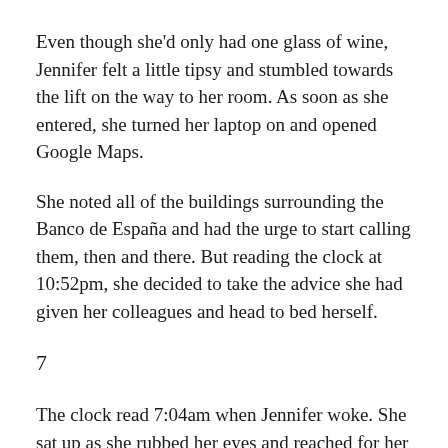Even though she'd only had one glass of wine, Jennifer felt a little tipsy and stumbled towards the lift on the way to her room. As soon as she entered, she turned her laptop on and opened Google Maps.
She noted all of the buildings surrounding the Banco de España and had the urge to start calling them, then and there. But reading the clock at 10:52pm, she decided to take the advice she had given her colleagues and head to bed herself.
7
The clock read 7:04am when Jennifer woke. She sat up as she rubbed her eyes and reached for her laptop. When she opened it, it was left exactly as it was the night before.